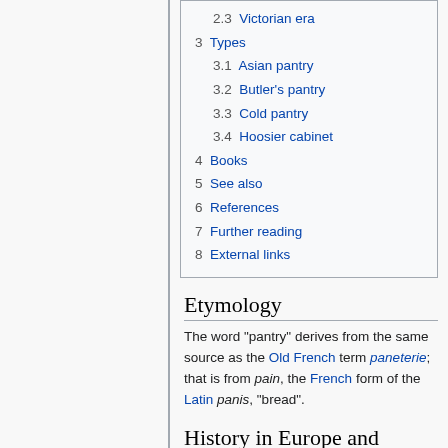2.3 Victorian era
3 Types
3.1 Asian pantry
3.2 Butler's pantry
3.3 Cold pantry
3.4 Hoosier cabinet
4 Books
5 See also
6 References
7 Further reading
8 External links
Etymology
The word "pantry" derives from the same source as the Old French term paneterie; that is from pain, the French form of the Latin panis, "bread".
History in Europe and United